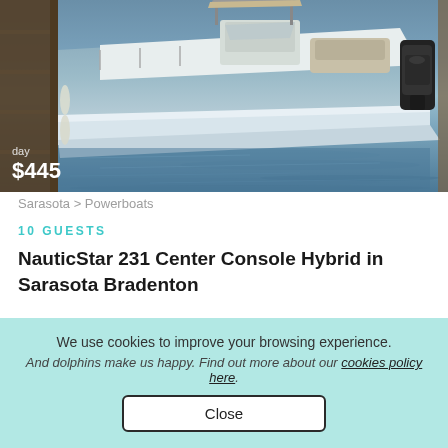[Figure (photo): A blue and white NauticStar center console powerboat docked at a marina, photographed from the dock beside it showing the hull and outboard motor, with water in the background.]
day
$445
Sarasota > Powerboats
10 GUESTS
NauticStar 231 Center Console Hybrid in Sarasota Bradenton
We use cookies to improve your browsing experience.
And dolphins make us happy. Find out more about our cookies policy here.
Close